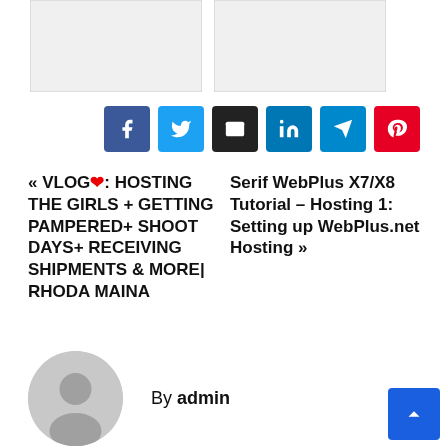[Figure (photo): Two placeholder image thumbnails side by side]
[Figure (infographic): Social share buttons: Facebook, Twitter, Email, LinkedIn, Telegram, Pinterest]
« VLOG❤: HOSTING THE GIRLS + GETTING PAMPERED+ SHOOT DAYS+ RECEIVING SHIPMENTS & MORE| RHODA MAINA
Serif WebPlus X7/X8 Tutorial – Hosting 1: Setting up WebPlus.net Hosting »
By admin
[Figure (illustration): Generic user avatar circle]